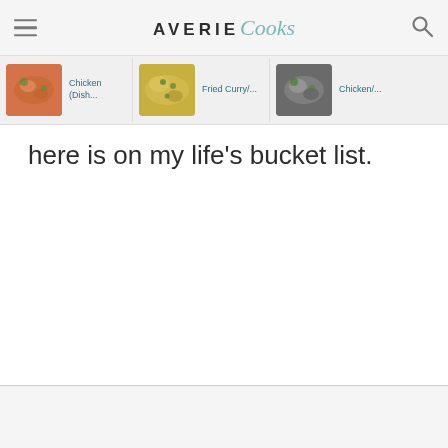AVERIE Cooks
[Figure (screenshot): Horizontal scrolling strip of recipe cards showing food thumbnails with titles including 'Chicken (Dish...', 'Fried Curry/...' and 'Chicken/...' partially visible]
here is on my life's bucket list.